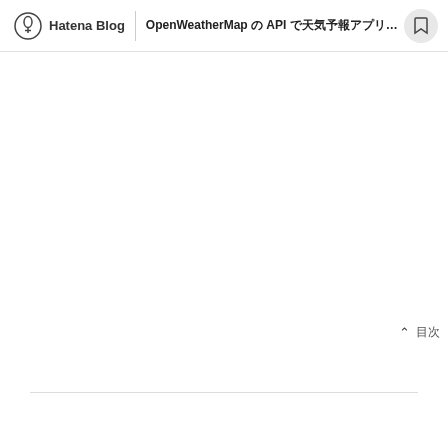Hatena Blog | OpenWeatherMap の API で天気予報アプリのようなものを作ってみた
▲ 目次